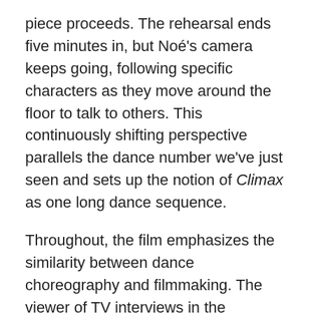piece proceeds. The rehearsal ends five minutes in, but Noé's camera keeps going, following specific characters as they move around the floor to talk to others. This continuously shifting perspective parallels the dance number we've just seen and sets up the notion of Climax as one long dance sequence.
Throughout, the film emphasizes the similarity between dance choreography and filmmaking. The viewer of TV interviews in the beginning could be either the choreographer of Noé himself. Like choreography, filmmaking is collective writing that involves the manipulation of performer's bodies in space according to a set of ideas. Noé's film unfolds as a chain of pronounced gestures essentially without any meaning. Like the dance, it's an instance of abstract writing that only intermittently